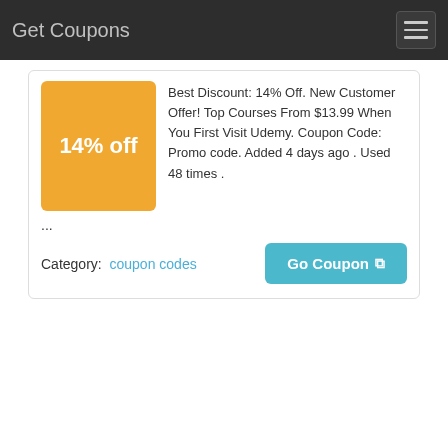Get Coupons
[Figure (other): Orange badge showing 14% off discount]
Best Discount: 14% Off. New Customer Offer! Top Courses From $13.99 When You First Visit Udemy. Coupon Code: Promo code. Added 4 days ago . Used 48 times .
...
Category:  coupon codes
Go Coupon